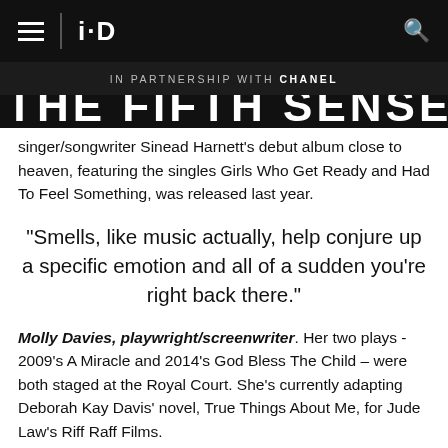i-D
IN PARTNERSHIP WITH CHANEL
THE FIFTH SENSE
singer/songwriter Sinead Harnett's debut album close to heaven, featuring the singles Girls Who Get Ready and Had To Feel Something, was released last year.
“Smells, like music actually, help conjure up a specific emotion and all of a sudden you're right back there.”
Molly Davies, playwright/screenwriter. Her two plays - 2009's A Miracle and 2014's God Bless The Child – were both staged at the Royal Court. She's currently adapting Deborah Kay Davis' novel, True Things About Me, for Jude Law's Riff Raff Films.